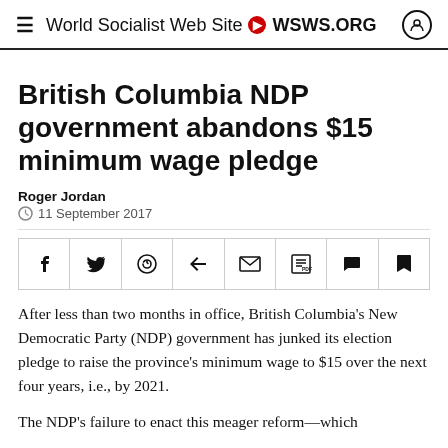≡ World Socialist Web Site ➤ WSWS.ORG
British Columbia NDP government abandons $15 minimum wage pledge
Roger Jordan
11 September 2017
[Figure (other): Social media share bar with icons for Facebook, Twitter, WhatsApp, Telegram, Email, PDF, Comments, and Bookmark]
After less than two months in office, British Columbia's New Democratic Party (NDP) government has junked its election pledge to raise the province's minimum wage to $15 over the next four years, i.e., by 2021.
The NDP's failure to enact this meager reform—which